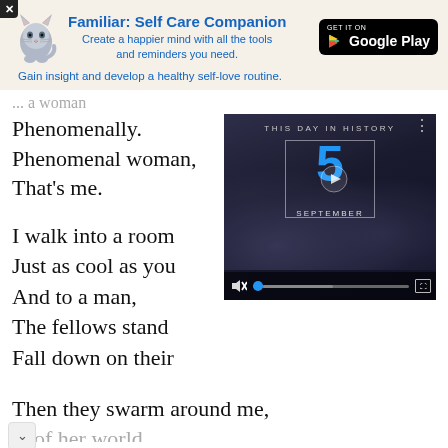[Figure (infographic): Advertisement banner for 'Familiar: Self Care Companion' app with cat logo, Google Play button, and tagline]
... a woman
Phenomenally.
Phenomenal woman,
That's me.
I walk into a room
Just as cool as you
And to a man,
The fellows stand
Fall down on their
[Figure (screenshot): Video player showing 'THIS DAY IN HISTORY' with the number 5 and SEPTEMBER, with playback controls including mute button and progress bar]
Then they swarm around me,